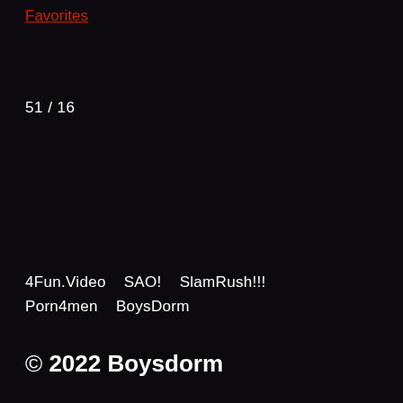Favorites
51 / 16
4Fun.Video   SAO!   SlamRush!!!  Porn4men   BoysDorm
© 2022 Boysdorm